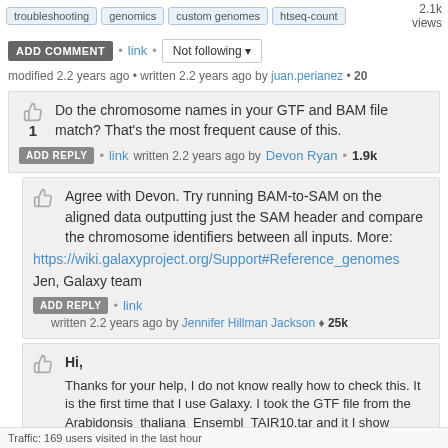troubleshooting • genomics • custom-genomes • htseq-count • 2.1k views
ADD COMMENT • link • Not following ▼
modified 2.2 years ago • written 2.2 years ago by juan.perianez • 20
Do the chromosome names in your GTF and BAM file match? That's the most frequent cause of this.
ADD REPLY • link written 2.2 years ago by Devon Ryan • 1.9k
Agree with Devon. Try running BAM-to-SAM on the aligned data outputting just the SAM header and compare the chromosome identifiers between all inputs. More:
https://wiki.galaxyproject.org/Support#Reference_genomes
Jen, Galaxy team
ADD REPLY • link
written 2.2 years ago by Jennifer Hillman Jackson ♦ 25k
Hi,
Thanks for your help, I do not know really how to check this. It is the first time that I use Galaxy. I took the GTF file from the Arabidonsis_thaliana_Ensembl_TAIR10.tar and it I show below:
Traffic: 169 users visited in the last hour